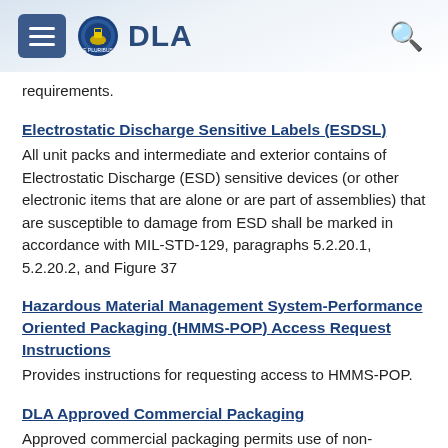DLA
requirements.
Electrostatic Discharge Sensitive Labels (ESDSL)
All unit packs and intermediate and exterior contains of Electrostatic Discharge (ESD) sensitive devices (or other electronic items that are alone or are part of assemblies) that are susceptible to damage from ESD shall be marked in accordance with MIL-STD-129, paragraphs 5.2.20.1, 5.2.20.2, and Figure 37
Hazardous Material Management System-Performance Oriented Packaging (HMMS-POP) Access Request Instructions
Provides instructions for requesting access to HMMS-POP.
DLA Approved Commercial Packaging
Approved commercial packaging permits use of non-